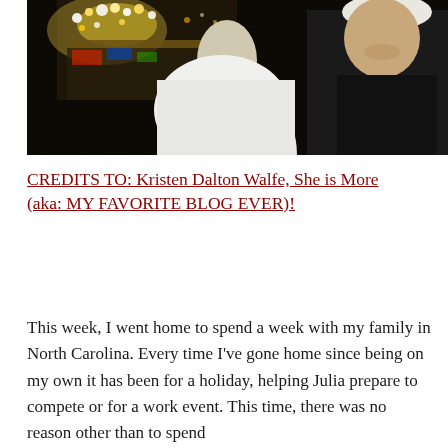[Figure (photo): Two people outdoors at night near illuminated market stalls; one person wearing a white coat/jacket and another in dark clothing with a white beanie hat, smiling.]
CREDITS TO: Kristen Dalton Walfe, She is More (aka: MY FAVORITE BLOG EVER)!
This week, I went home to spend a week with my family in North Carolina. Every time I've gone home since being on my own it has been for a holiday, helping Julia prepare to compete or for a work event. This time, there was no reason other than to spend